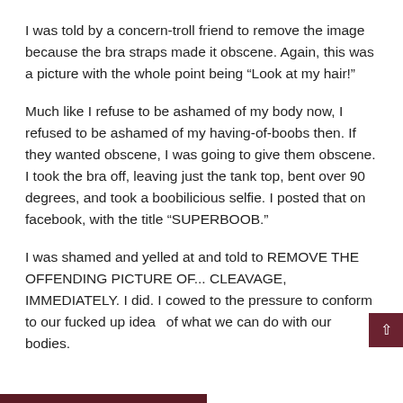I was told by a concern-troll friend to remove the image because the bra straps made it obscene. Again, this was a picture with the whole point being “Look at my hair!”
Much like I refuse to be ashamed of my body now, I refused to be ashamed of my having-of-boobs then. If they wanted obscene, I was going to give them obscene. I took the bra off, leaving just the tank top, bent over 90 degrees, and took a boobilicious selfie. I posted that on facebook, with the title “SUPERBOOB.”
I was shamed and yelled at and told to REMOVE THE OFFENDING PICTURE OF... CLEAVAGE, IMMEDIATELY. I did. I cowed to the pressure to conform to our fucked up ideas of what we can do with our bodies.